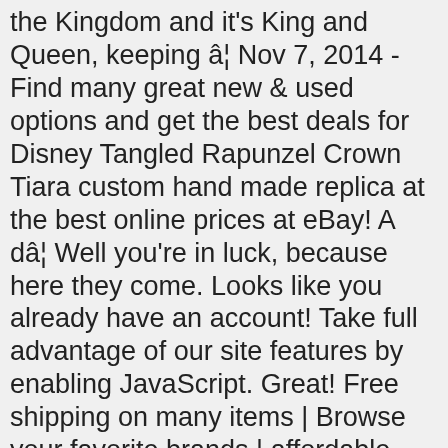the Kingdom and it's King and Queen, keeping â¦ Nov 7, 2014 - Find many great new & used options and get the best deals for Disney Tangled Rapunzel Crown Tiara custom hand made replica at the best online prices at eBay! A dâ¦ Well you're in luck, because here they come. Looks like you already have an account! Take full advantage of our site features by enabling JavaScript. Great! Free shipping on many items | Browse your favorite brands | affordable prices. However, she is not afraid to stand up for herself or others when the situation calls for bravery. You guessed it: purple. 7A7777777d777 77b7777777y7777 777beesukha, 7A7777777d777 77b7777777y7777 777SpaceMountainEars, 7A7777777d777 77b7777777y7777 777EarsJohnny, 7A7777777d777 77b7777777y7777 777BlueRoseEU, 7A7777777d777 77b7777777y7777 777EngelhartDesigns, 7A7777777d777 77b7777777y7777 777OuterBank, 7A7777777d777